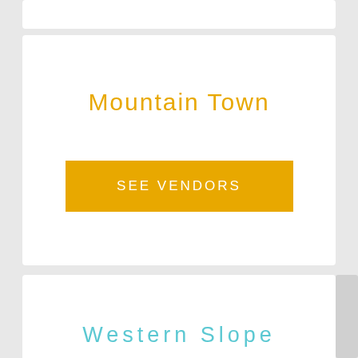Mountain Town
SEE VENDORS
Western Slope
SEE VENDORS